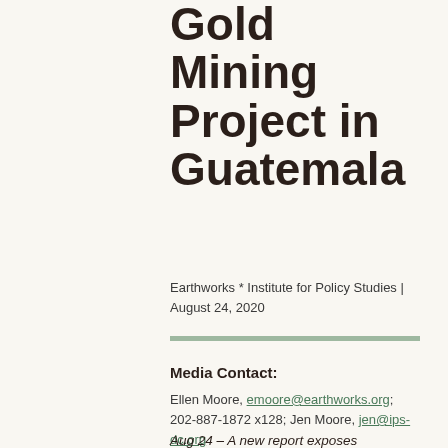Gold Mining Project in Guatemala
Earthworks * Institute for Policy Studies | August 24, 2020
Media Contact:
Ellen Moore, emoore@earthworks.org; 202-887-1872 x128; Jen Moore, jen@ips-dc.org
Aug 24 – A new report exposes